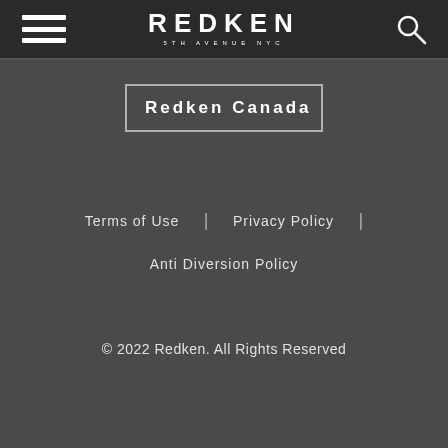REDKEN 5TH AVENUE NYC
Redken Canada
Terms of Use
Privacy Policy
Anti Diversion Policy
© 2022 Redken. All Rights Reserved